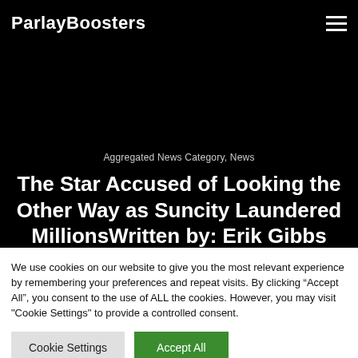ParlayBoosters
Aggregated News Category, News
The Star Accused of Looking the Other Way as Suncity Laundered MillionsWritten by: Erik Gibbs
We use cookies on our website to give you the most relevant experience by remembering your preferences and repeat visits. By clicking “Accept All”, you consent to the use of ALL the cookies. However, you may visit "Cookie Settings" to provide a controlled consent.
Cookie Settings | Accept All